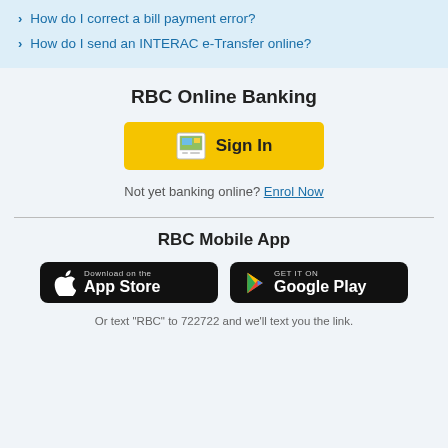How do I correct a bill payment error?
How do I send an INTERAC e-Transfer online?
RBC Online Banking
[Figure (other): Yellow Sign In button with document icon]
Not yet banking online? Enrol Now
RBC Mobile App
[Figure (other): App Store and Google Play download badges]
Or text "RBC" to 722722 and we'll text you the link.